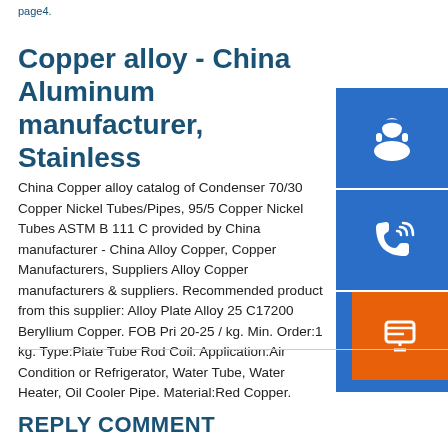page4.
Copper alloy - China Aluminum manufacturer, Stainless
China Copper alloy catalog of Condenser 70/30 Copper Nickel Tubes/Pipes, 95/5 Copper Nickel Tubes ASTM B 111 C provided by China manufacturer - China Alloy Copper, Copper Manufacturers, Suppliers Alloy Copper manufacturers & suppliers. Recommended product from this supplier: Alloy Plate Alloy 25 C17200 Beryllium Copper. FOB Pri 20-25 / kg. Min. Order:1 kg. Type:Plate Tube Rod Coil. Application:Air Condition or Refrigerator, Water Tube, Water Heater, Oil Cooler Pipe. Material:Red Copper.
REPLY COMMENT